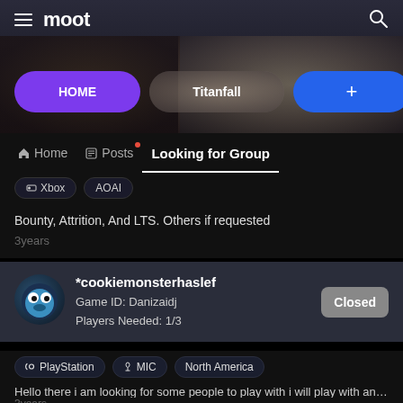moot
[Figure (screenshot): App category buttons: HOME (purple), Titanfall (with background image), + (blue)]
Home | Posts | Looking for Group
Xbox | AOAI (filter chips)
Bounty, Attrition, And LTS. Others if requested
3years
*cookiemonsterhaslef
Game ID: Danizaidj
Players Needed: 1/3
Closed
PlayStation | MIC | North America
Hello there i am looking for some people to play with i will play with anyone ...
3years